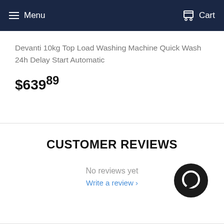Menu  Cart
Devanti 10kg Top Load Washing Machine Quick Wash 24h Delay Start Automatic
$639.89
CUSTOMER REVIEWS
No reviews yet
Write a review ›